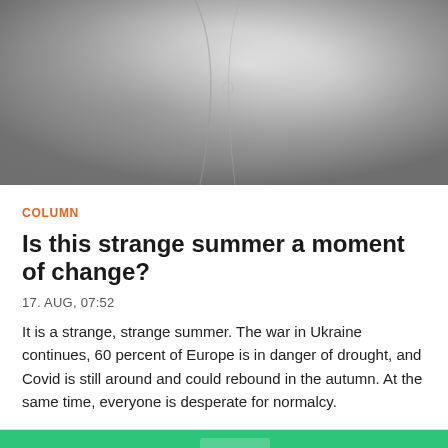[Figure (photo): Grayscale photo showing a person in a light-colored shirt, upper body visible, cropped at top]
COLUMN
Is this strange summer a moment of change?
17. AUG, 07:52
It is a strange, strange summer. The war in Ukraine continues, 60 percent of Europe is in danger of drought, and Covid is still around and could rebound in the autumn. At the same time, everyone is desperate for normalcy.
[Figure (infographic): Green banner advertisement: 'Support quality EU news' with a yellow JOIN US button and a close (×) button]